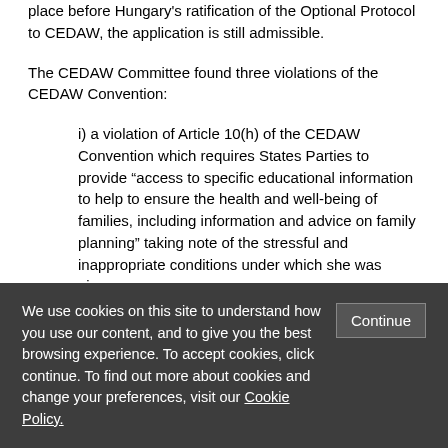place before Hungary's ratification of the Optional Protocol to CEDAW, the application is still admissible.
The CEDAW Committee found three violations of the CEDAW Convention:
i) a violation of Article 10(h) of the CEDAW Convention which requires States Parties to provide "access to specific educational information to help to ensure the health and well-being of families, including information and advice on family planning" taking note of the stressful and inappropriate conditions under which she was given
We use cookies on this site to understand how you use our content, and to give you the best browsing experience. To accept cookies, click continue. To find out more about cookies and change your preferences, visit our Cookie Policy.